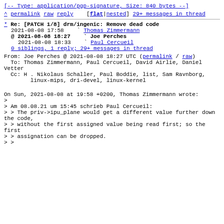[-- Type: application/pgp-signature, Size: 840 bytes --]
^ permalink  raw  reply    [flat|nested]  29+ messages in thread
* Re: [PATCH 1/8] drm/ingenic: Remove dead code
  2021-08-08 17:58    ` Thomas Zimmermann
@ 2021-08-08 18:27    ` Joe Perches
  2021-08-08 18:33      ` Paul Cercueil
  0 siblings, 1 reply; 29+ messages in thread
From: Joe Perches @ 2021-08-08 18:27 UTC (permalink / raw)
  To: Thomas Zimmermann, Paul Cercueil, David Airlie, Daniel Vetter
  Cc: H . Nikolaus Schaller, Paul Boddie, list, Sam Ravnborg,
        linux-mips, dri-devel, linux-kernel
On Sun, 2021-08-08 at 19:58 +0200, Thomas Zimmermann wrote:
>
> Am 08.08.21 um 15:45 schrieb Paul Cercueil:
> > The priv->ipu_plane would get a different value further down the code,
> > without the first assigned value being read first; so the first
> > assignation can be dropped.
> >